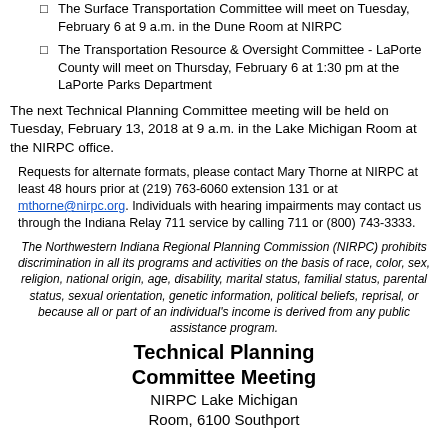The Surface Transportation Committee will meet on Tuesday, February 6 at 9 a.m. in the Dune Room at NIRPC
The Transportation Resource & Oversight Committee - LaPorte County will meet on Thursday, February 6 at 1:30 pm at the LaPorte Parks Department
The next Technical Planning Committee meeting will be held on Tuesday, February 13, 2018 at 9 a.m. in the Lake Michigan Room at the NIRPC office.
Requests for alternate formats, please contact Mary Thorne at NIRPC at least 48 hours prior at (219) 763-6060 extension 131 or at mthorne@nirpc.org. Individuals with hearing impairments may contact us through the Indiana Relay 711 service by calling 711 or (800) 743-3333.
The Northwestern Indiana Regional Planning Commission (NIRPC) prohibits discrimination in all its programs and activities on the basis of race, color, sex, religion, national origin, age, disability, marital status, familial status, parental status, sexual orientation, genetic information, political beliefs, reprisal, or because all or part of an individual's income is derived from any public assistance program.
Technical Planning Committee Meeting
NIRPC Lake Michigan Room, 6100 Southport...